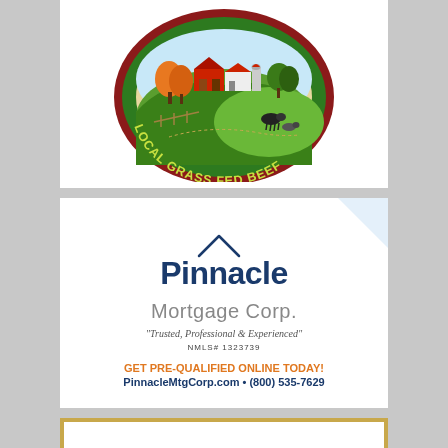[Figure (logo): Circular badge logo with farm scene, red barn, trees, cows, green hills, text 'LOCAL GRASS FED BEEF' around the border in yellow-green letters on dark green and red circular border]
[Figure (logo): Pinnacle Mortgage Corp. logo with house roofline icon. Text: 'Pinnacle' in dark navy bold, 'Mortgage Corp.' in gray. Tagline: 'Trusted, Professional & Experienced'. NMLS# 1323739. Call to action: 'GET PRE-QUALIFIED ONLINE TODAY!' in orange bold, 'PinnacleMtgCorp.com • (800) 535-7629' in navy bold.]
[Figure (other): Partial gold-bordered white box at bottom of page, cut off]